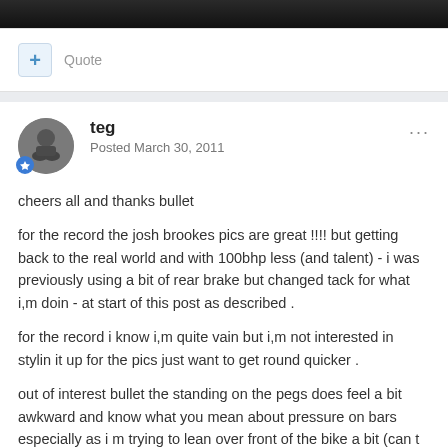[Figure (screenshot): Dark/black top image bar from a forum screenshot]
+ Quote
teg
Posted March 30, 2011
cheers all and thanks bullet
for the record the josh brookes pics are great !!!! but getting back to the real world and with 100bhp less (and talent) - i was previously using a bit of rear brake but changed tack for what i,m doin - at start of this post as described .
for the record i know i,m quite vain but i,m not interested in stylin it up for the pics just want to get round quicker .
out of interest bullet the standing on the pegs does feel a bit awkward and know what you mean about pressure on bars especially as i m trying to lean over front of the bike a bit (can t